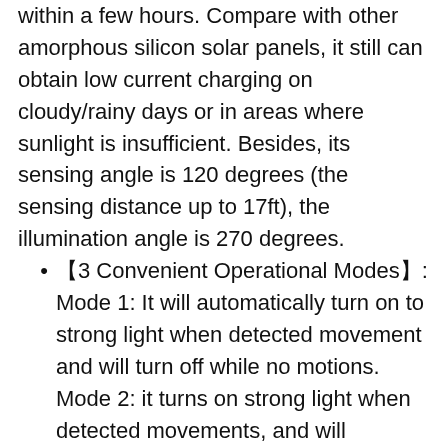within a few hours. Compare with other amorphous silicon solar panels, it still can obtain low current charging on cloudy/rainy days or in areas where sunlight is insufficient. Besides, its sensing angle is 120 degrees (the sensing distance up to 17ft), the illumination angle is 270 degrees.
【3 Convenient Operational Modes】: Mode 1: It will automatically turn on to strong light when detected movement and will turn off while no motions. Mode 2: it turns on strong light when detected movements, and will become dark light while no detected. Mode 3, will always be a dark light mode.(If it is during the daytime, you must find something to completely cover the solar panel, keep the solar panel in a dark condition and long press for three seconds to